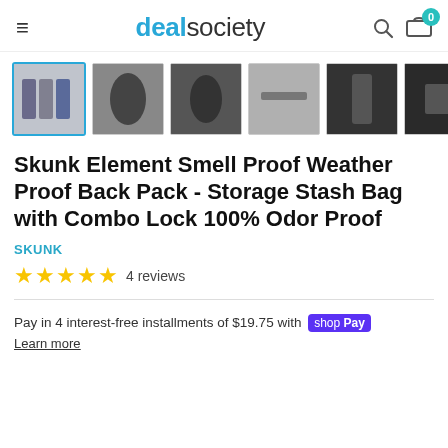dealsociety — navigation bar with hamburger menu, search icon, and cart with 0 items
[Figure (photo): Thumbnail strip of 7 product images showing backpack from various angles; first image is selected with a teal border]
Skunk Element Smell Proof Weather Proof Back Pack - Storage Stash Bag with Combo Lock 100% Odor Proof
SKUNK
★★★★★ 4 reviews
Pay in 4 interest-free installments of $19.75 with shop Pay
Learn more